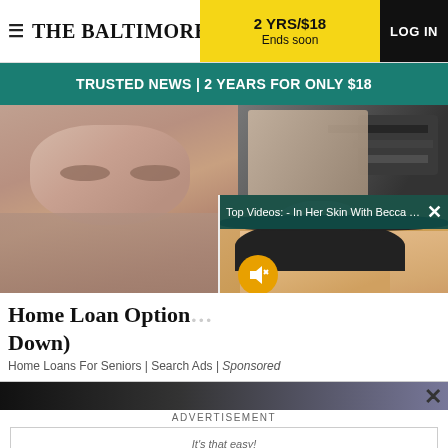THE BALTIMORE SUN | 2 YRS/$18 Ends soon | LOG IN
TRUSTED NEWS | 2 YEARS FOR ONLY $18
[Figure (screenshot): News article image showing an elderly man's face on the left and a wallet/money on the upper right, with a video overlay on the right showing a blonde woman wearing a black hat with a mute button icon]
Top Videos: - In Her Skin With Becca To... ×
Home Loan Option... Down)
Home Loans For Seniors | Search Ads | Sponsored
ADVERTISEMENT
[Figure (screenshot): Tribune Publishing advertisement showing 'It's that easy!' tagline with 'Advertise 1-2-3' text in black and blue, and Tribune Publishing logo in a blue outlined box]